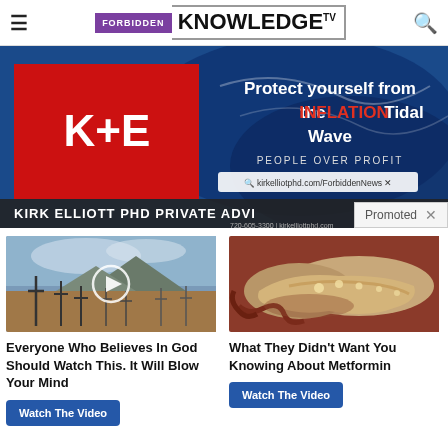FORBIDDEN KNOWLEDGE TV
[Figure (screenshot): Advertisement banner for Kirk Elliott PHD Private Advisors. Shows K+E logo on red background, text 'Protect yourself from the INFLATION Tidal Wave', 'PEOPLE OVER PROFIT', URL kirkelliotphd.com/ForbiddenNews, and 'KIRK ELLIOTT PHD PRIVATE ADVISORS' at bottom.]
[Figure (photo): Thumbnail image of a cemetery with crosses against a mountain and cloudy sky, with a circular play button overlay.]
Everyone Who Believes In God Should Watch This. It Will Blow Your Mind
Watch The Video
[Figure (photo): Close-up medical illustration or photo of the pancreas organ, showing tan/beige coloring against darker tissue.]
What They Didn't Want You Knowing About Metformin
Watch The Video